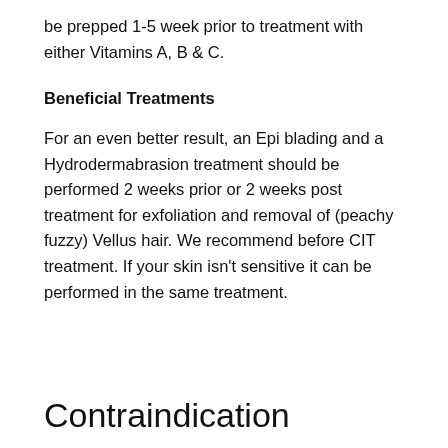be prepped 1-5 week prior to treatment with either Vitamins A, B & C.
Beneficial Treatments
For an even better result, an Epi blading and a Hydrodermabrasion treatment should be performed 2 weeks prior or 2 weeks post treatment for exfoliation and removal of (peachy fuzzy) Vellus hair. We recommend before CIT treatment. If your skin isn't sensitive it can be performed in the same treatment.
Contraindication
Avoid